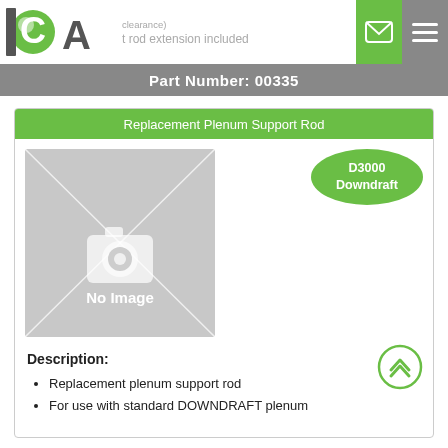clearance) | t rod extension included | ICA logo | email icon | menu icon
Part Number: 00335
Replacement Plenum Support Rod
[Figure (photo): No Image placeholder — grey box with camera icon and text 'No Image']
D3000 Downdraft
Description:
Replacement plenum support rod
For use with standard DOWNDRAFT plenum